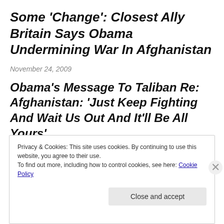Some ‘Change’: Closest Ally Britain Says Obama Undermining War In Afghanistan
November 24, 2009
Obama’s Message To Taliban Re: Afghanistan: ‘Just Keep Fighting And Wait Us Out And It’ll Be All Yours’
Privacy & Cookies: This site uses cookies. By continuing to use this website, you agree to their use.
To find out more, including how to control cookies, see here: Cookie Policy